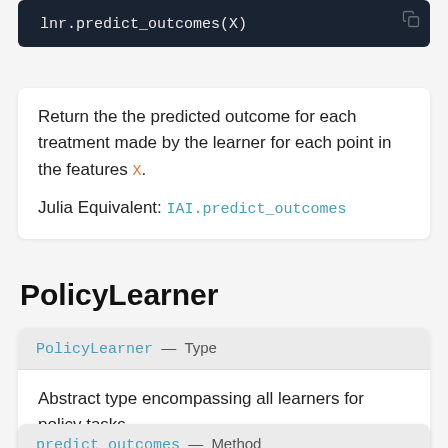lnr.predict_outcomes(X)
Return the the predicted outcome for each treatment made by the learner for each point in the features X.
Julia Equivalent: IAI.predict_outcomes
PolicyLearner
PolicyLearner — Type
Abstract type encompassing all learners for policy tasks
predict_outcomes — Method